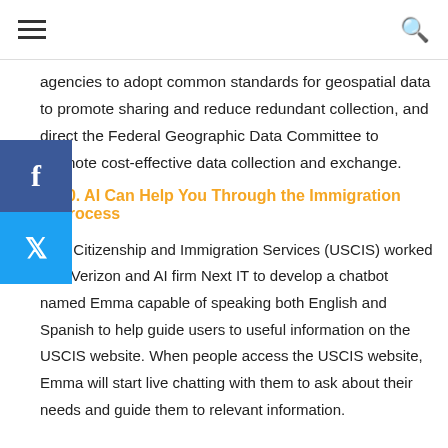≡  🔍
agencies to adopt common standards for geospatial data to promote sharing and reduce redundant collection, and direct the Federal Geographic Data Committee to promote cost-effective data collection and exchange.
10. AI Can Help You Through the Immigration Process
U.S. Citizenship and Immigration Services (USCIS) worked with Verizon and AI firm Next IT to develop a chatbot named Emma capable of speaking both English and Spanish to help guide users to useful information on the USCIS website. When people access the USCIS website, Emma will start live chatting with them to ask about their needs and guide them to relevant information.